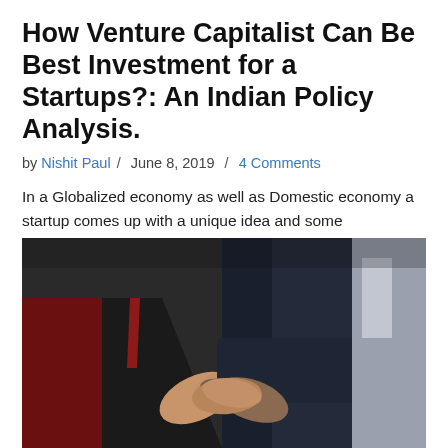How Venture Capitalist Can Be Best Investment for a Startups?: An Indian Policy Analysis.
by Nishit Paul / June 8, 2019 / 4 Comments
In a Globalized economy as well as Domestic economy a startup comes up with a unique idea and some enthusiastic team of entrepreneur loaded with… Read More »
[Figure (photo): Two people shaking hands in business attire — one in a light-colored suit with cream shirt visible, the other in a dark navy suit. The handshake is in the center of the image.]